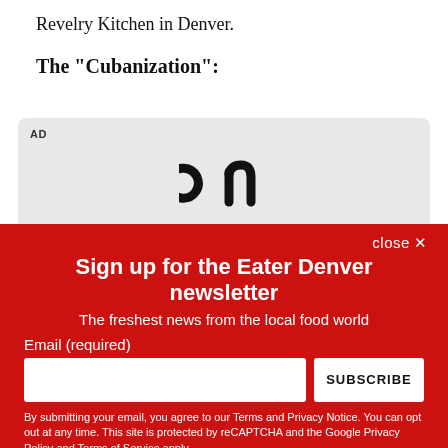Revelry Kitchen in Denver.
The "Cubanization":
[Figure (other): Advertisement box with white/grey textured background showing 'on' brand logo in black text, with AD label in top left corner.]
close ✕
Sign up for the Eater Denver newsletter
The freshest news from the local food world
Email (required)
SUBSCRIBE
By submitting your email, you agree to our Terms and Privacy Notice. You can opt out at any time. This site is protected by reCAPTCHA and the Google Privacy Policy and Terms of Service apply.